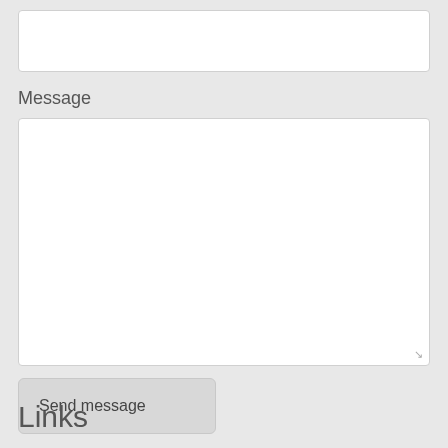[Figure (screenshot): Empty text input field at the top of a web form]
Message
[Figure (screenshot): Large empty textarea input field for composing a message, with a resize handle in the bottom-right corner]
Send message
Links